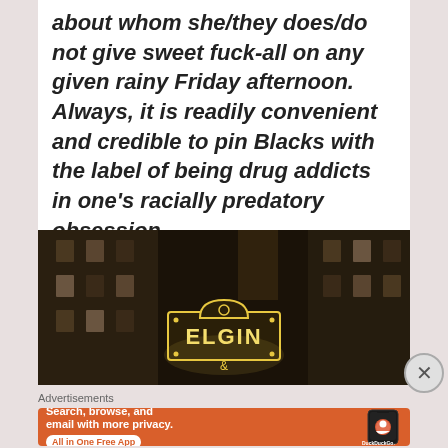about whom she/they does/do not give sweet fuck-all on any given rainy Friday afternoon. Always, it is readily convenient and credible to pin Blacks with the label of being drug addicts in one's racially predatory obsession.
[Figure (photo): Night-time photo of a building exterior with a glowing neon sign reading 'ELGIN']
Advertisements
[Figure (screenshot): DuckDuckGo advertisement on orange background: 'Search, browse, and email with more privacy. All in One Free App' with phone mockup showing DuckDuckGo logo]